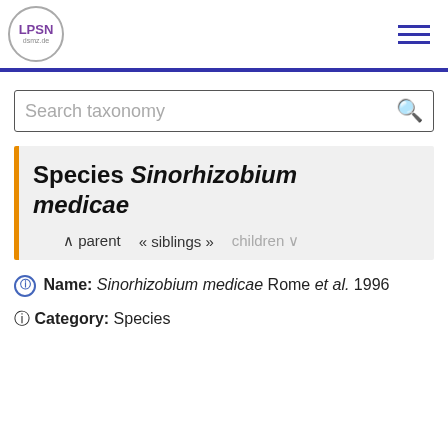LPSN dsmz.de
Search taxonomy
Species Sinorhizobium medicae
^ parent  « siblings »  children ∨
ⓘ Name: Sinorhizobium medicae Rome et al. 1996
ⓘ Category: Species